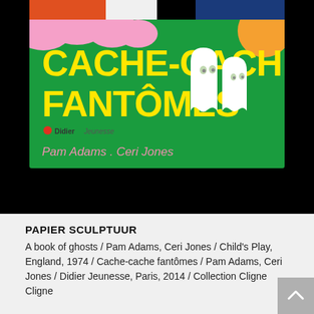[Figure (illustration): Book cover of 'Cache-cache fantômes' (originally 'A book of ghosts') by Pam Adams and Ceri Jones. Green background with yellow bold title text, pink cloud shapes top left, orange blob top right, two white ghost figures on the right side, Didier Jeunesse publisher logo, and authors' names in pink italic at the bottom. Shown against a black background with a partial colorful image strip at the top.]
PAPIER SCULPTUUR
A book of ghosts / Pam Adams, Ceri Jones / Child's Play, England, 1974 / Cache-cache fantômes / Pam Adams, Ceri Jones / Didier Jeunesse, Paris, 2014 / Collection Cligne Cligne